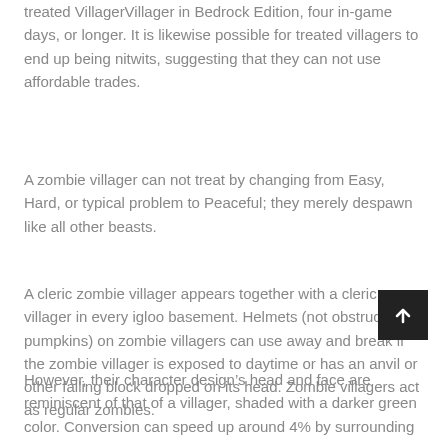treated VillagerVillager in Bedrock Edition, four in-game days, or longer. It is likewise possible for treated villagers to end up being nitwits, suggesting that they can not use affordable trades.
A zombie villager can not treat by changing from Easy, Hard, or typical problem to Peaceful; they merely despawn like all other beasts.
A cleric zombie villager appears together with a cleric villager in every igloo basement. Helmets (not obstructs like pumpkins) on zombie villagers can use away and break if the zombie villager is exposed to daytime or has an anvil or other falling block dropped on its head. Zombie villagers act as regular zombies.
However, their character design’s head and face are reminiscent of that of a villager, shaded with a darker green color. Conversion can speed up around 4% by surrounding